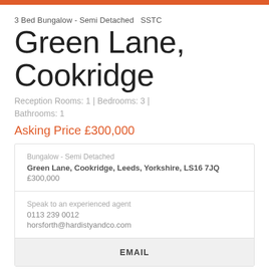3 Bed Bungalow - Semi Detached  SSTC
Green Lane, Cookridge
Reception Rooms: 1 | Bedrooms: 3 | Bathrooms: 1
Asking Price £300,000
| Bungalow - Semi Detached |
| Green Lane, Cookridge, Leeds, Yorkshire, LS16 7JQ |
| £300,000 |
Speak to an experienced agent
0113 239 0012
horsforth@hardistyandco.com
EMAIL